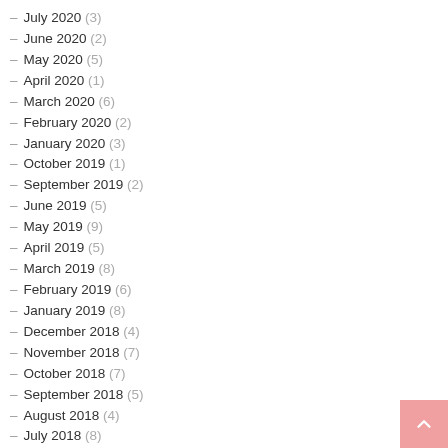– July 2020 (3)
– June 2020 (2)
– May 2020 (5)
– April 2020 (1)
– March 2020 (6)
– February 2020 (2)
– January 2020 (3)
– October 2019 (1)
– September 2019 (2)
– June 2019 (5)
– May 2019 (9)
– April 2019 (5)
– March 2019 (8)
– February 2019 (6)
– January 2019 (8)
– December 2018 (4)
– November 2018 (7)
– October 2018 (7)
– September 2018 (5)
– August 2018 (4)
– July 2018 (8)
– June 2018 (3)
– May 2018 (5)